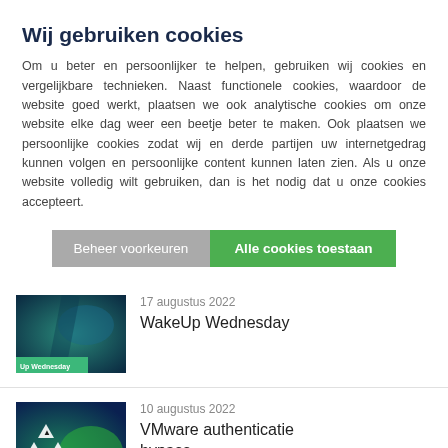Wij gebruiken cookies
Om u beter en persoonlijker te helpen, gebruiken wij cookies en vergelijkbare technieken. Naast functionele cookies, waardoor de website goed werkt, plaatsen we ook analytische cookies om onze website elke dag weer een beetje beter te maken. Ook plaatsen we persoonlijke cookies zodat wij en derde partijen uw internetgedrag kunnen volgen en persoonlijke content kunnen laten zien. Als u onze website volledig wilt gebruiken, dan is het nodig dat u onze cookies accepteert.
Beheer voorkeuren
Alle cookies toestaan
[Figure (screenshot): Thumbnail image for WakeUp Wednesday article - dark teal/blue tech imagery with green WakeUp Wednesday label]
17 augustus 2022
WakeUp Wednesday
[Figure (screenshot): Thumbnail image for VMware authenticatie bypass article - dark green/teal with triangle warning icons]
10 augustus 2022
VMware authenticatie bypass